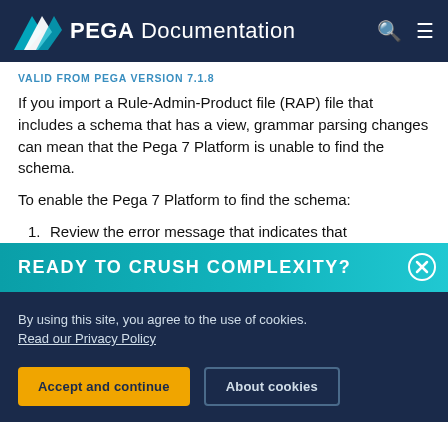PEGA Documentation
VALID FROM PEGA VERSION 7.1.8
If you import a Rule-Admin-Product file (RAP) file that includes a schema that has a view, grammar parsing changes can mean that the Pega 7 Platform is unable to find the schema.
To enable the Pega 7 Platform to find the schema:
1. Review the error message that indicates that
[Figure (infographic): Teal promotional banner with text 'READY TO CRUSH COMPLEXITY?' and a close button (X circle) in top right corner]
By using this site, you agree to the use of cookies. Read our Privacy Policy
Accept and continue   About cookies